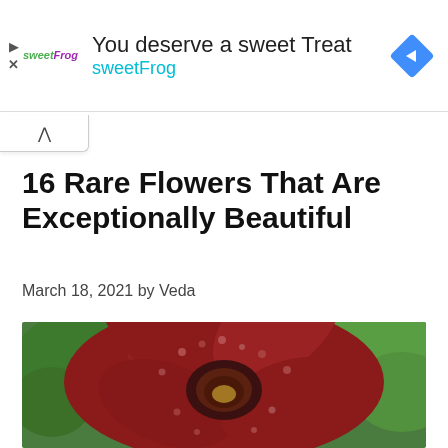[Figure (screenshot): Advertisement banner for sweetFrog frozen yogurt. Text reads 'You deserve a sweet Treat' and 'sweetFrog' in teal. Logo and navigation arrow diamond icon visible.]
16 Rare Flowers That Are Exceptionally Beautiful
March 18, 2021 by Veda
[Figure (photo): Close-up photograph of a large Rafflesia flower with deep red-brown petals covered in white spots, showing its central opening, surrounded by green tropical foliage.]